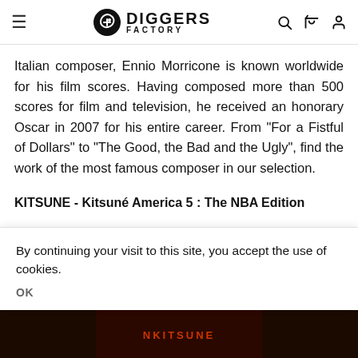Diggers Factory
Italian composer, Ennio Morricone is known worldwide for his film scores. Having composed more than 500 scores for film and television, he received an honorary Oscar in 2007 for his entire career. From "For a Fistful of Dollars" to "The Good, the Bad and the Ugly", find the work of the most famous composer in our selection.
KITSUNE - Kitsuné America 5 : The NBA Edition
By continuing your visit to this site, you accept the use of cookies.
OK
[Figure (photo): Bottom strip showing dark image, likely album cover for Kitsuné America 5 NBA Edition]